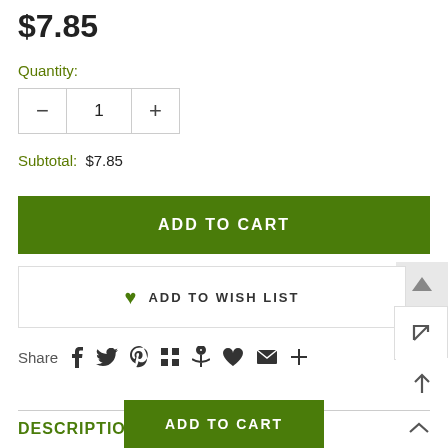$7.85
Quantity:
1
Subtotal: $7.85
ADD TO CART
♥ ADD TO WISH LIST
Share
DESCRIPTION
ADD TO CART